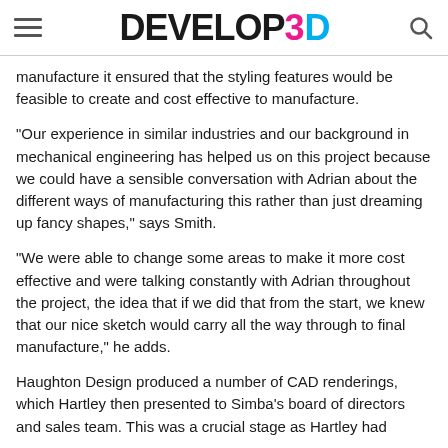DEVELOP3D
manufacture it ensured that the styling features would be feasible to create and cost effective to manufacture.
“Our experience in similar industries and our background in mechanical engineering has helped us on this project because we could have a sensible conversation with Adrian about the different ways of manufacturing this rather than just dreaming up fancy shapes,” says Smith.
“We were able to change some areas to make it more cost effective and were talking constantly with Adrian throughout the project, the idea that if we did that from the start, we knew that our nice sketch would carry all the way through to final manufacture,” he adds.
Haughton Design produced a number of CAD renderings, which Hartley then presented to Simba’s board of directors and sales team. This was a crucial stage as Hartley had